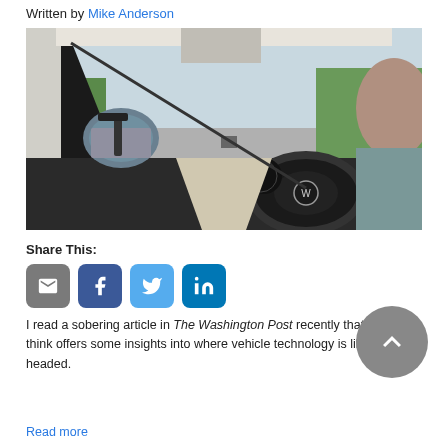Written by Mike Anderson
[Figure (photo): View from inside a car looking forward over the dashboard, showing side mirror, steering wheel with VW logo, and road ahead with trees on both sides. A person's head visible on right side.]
Share This:
[Figure (other): Social share buttons: email (gray), Facebook (blue), Twitter (light blue), LinkedIn (dark blue)]
I read a sobering article in The Washington Post recently that I think offers some insights into where vehicle technology is likely headed.
Read more